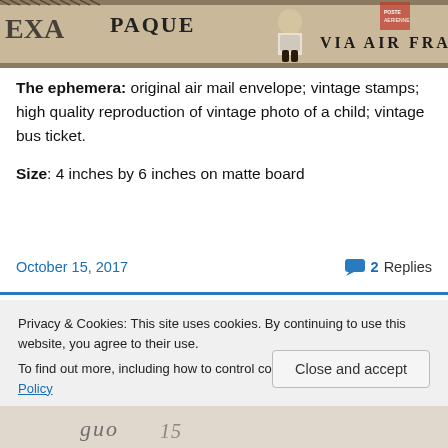[Figure (photo): Top portion of a vintage air mail envelope with 'VIA AIR FRANCE' text, postage stamps, and a figure of a child in boots visible. Beige/cream background with decorative postal markings.]
The ephemera: original air mail envelope; vintage stamps; high quality reproduction of vintage photo of a child; vintage bus ticket.
Size: 4 inches by 6 inches on matte board
October 15, 2017
2 Replies
Privacy & Cookies: This site uses cookies. By continuing to use this website, you agree to their use.
To find out more, including how to control cookies, see here: Cookie Policy
Close and accept
[Figure (photo): Bottom portion of a vintage-style image with cursive/script text visible, partially cut off.]